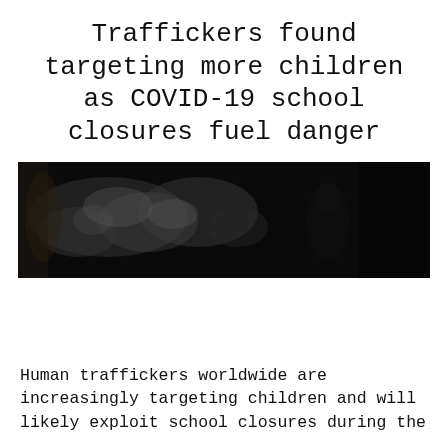Traffickers found targeting more children as COVID-19 school closures fuel danger
[Figure (photo): Dark, low-light photograph of a dimly lit scene — mostly black with some grey textured details visible, suggesting a shadowy environment]
Human traffickers worldwide are increasingly targeting children and will likely exploit school closures during the